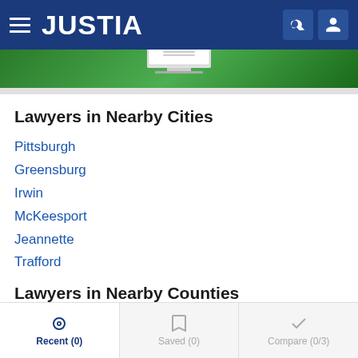JUSTIA
[Figure (screenshot): Green banner with partial monitor/laptop illustration]
Lawyers in Nearby Cities
Pittsburgh
Greensburg
Irwin
McKeesport
Jeannette
Trafford
Lawyers in Nearby Counties
Westmoreland County
Recent (0)   Saved (0)   Compare (0/3)